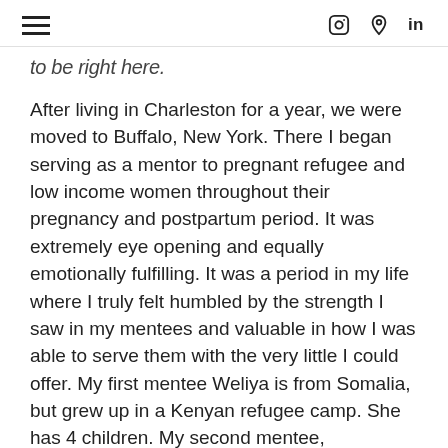≡  [instagram] [pinterest] in
to be right here.
After living in Charleston for a year, we were moved to Buffalo, New York. There I began serving as a mentor to pregnant refugee and low income women throughout their pregnancy and postpartum period. It was extremely eye opening and equally emotionally fulfilling. It was a period in my life where I truly felt humbled by the strength I saw in my mentees and valuable in how I was able to serve them with the very little I could offer. My first mentee Weliya is from Somalia, but grew up in a Kenyan refugee camp. She has 4 children. My second mentee,